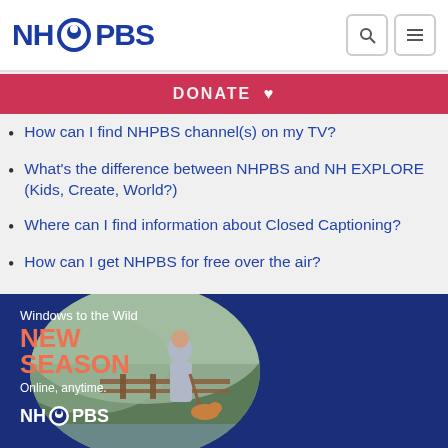NH PBS
How can I find NHPBS channel(s) on my TV?
What's the difference between NHPBS and NH EXPLORE (Kids, Create, World?)
Where can I find information about Closed Captioning?
How can I get NHPBS for free over the air?
[Figure (photo): Windows to the Wild NEW SEASON promotional banner with NH PBS logo; shows an older man with a dog and walking stick outdoors in a mountainous setting]